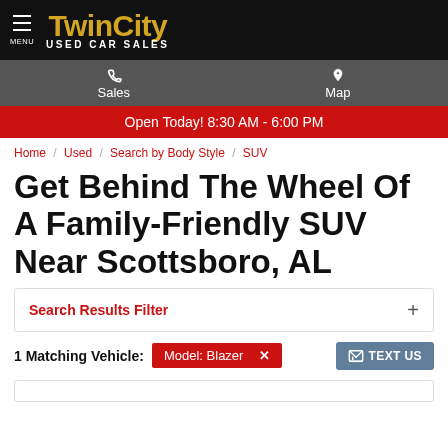[Figure (logo): Twin City Used Car Sales logo with menu icon on black background header]
Sales  Map
Open Today! 8:30 AM - 6:00 PM
Home / Used / Search by Body Style / SUV
Get Behind The Wheel Of A Family-Friendly SUV Near Scottsboro, AL
Search Results Filter +
1 Matching Vehicle: Model: Blazer ✕   TEXT US